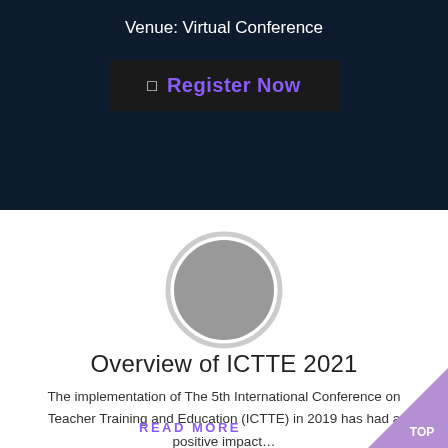Venue: Virtual Conference
Register Now
[Figure (illustration): Circular grey avatar placeholder image with white border ring]
Overview of ICTTE 2021
The implementation of The 5th International Conference on Teacher Training and Education (ICTTE) in 2019 has had a positive impact...
READ MORE